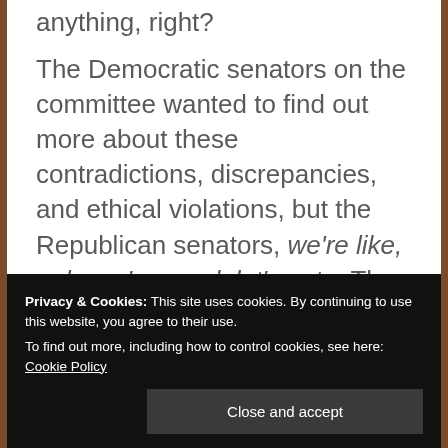anything, right?

The Democratic senators on the committee wanted to find out more about these contradictions, discrepancies, and ethical violations, but the Republican senators, we're like, nah, we're good, let's vote. The Dems remembered that there was a RULE that said at least one member of each
Privacy & Cookies: This site uses cookies. By continuing to use this website, you agree to their use.
To find out more, including how to control cookies, see here: Cookie Policy
[Close and accept]
and evidence regarding these two